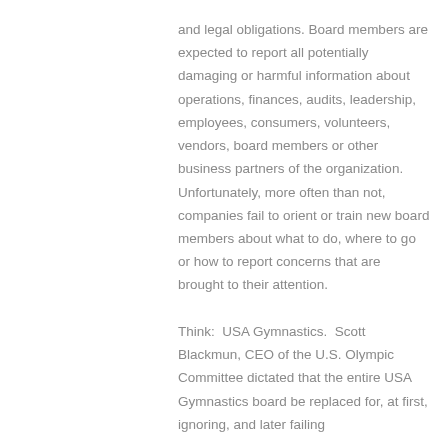and legal obligations. Board members are expected to report all potentially damaging or harmful information about operations, finances, audits, leadership, employees, consumers, volunteers, vendors, board members or other business partners of the organization. Unfortunately, more often than not, companies fail to orient or train new board members about what to do, where to go or how to report concerns that are brought to their attention.

Think:  USA Gymnastics.  Scott Blackmun, CEO of the U.S. Olympic Committee dictated that the entire USA Gymnastics board be replaced for, at first, ignoring, and later failing